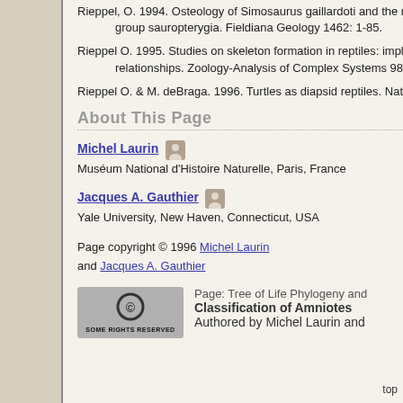Rieppel, O. 1994. Osteology of Simosaurus gaillardoti and the relationships of stem-group sauropterygia. Fieldiana Geology 1462: 1-85.
Rieppel O. 1995. Studies on skeleton formation in reptiles: implications for turtle relationships. Zoology-Analysis of Complex Systems 98: 298-308.
Rieppel O. & M. deBraga. 1996. Turtles as diapsid reptiles. Nature 384: 453-455.
About This Page
Michel Laurin
Muséum National d'Histoire Naturelle, Paris, France
Jacques A. Gauthier
Yale University, New Haven, Connecticut, USA
Page copyright © 1996 Michel Laurin and Jacques A. Gauthier
[Figure (other): Creative Commons Some Rights Reserved badge]
Page: Tree of Life Phylogeny and Classification of Amniotes Authored by Michel Laurin and